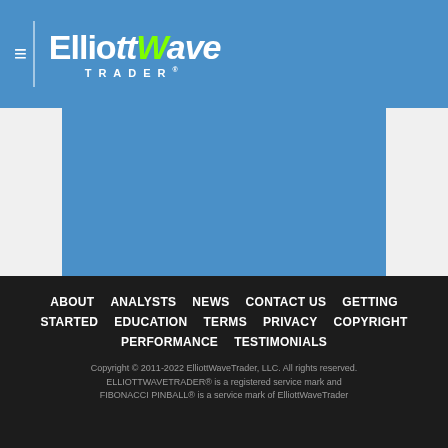ElliottWave Trader
I'm convinced, EW theory is THE best
ABOUT   ANALYSTS   NEWS   CONTACT US   GETTING STARTED   EDUCATION   TERMS   PRIVACY   COPYRIGHT   PERFORMANCE   TESTIMONIALS

Copyright © 2011-2022 ElliottWaveTrader, LLC. All rights reserved. ELLIOTTWAVETRADER® is a registered service mark and FIBONACCI PINBALL® is a service mark of ElliottWaveTrader